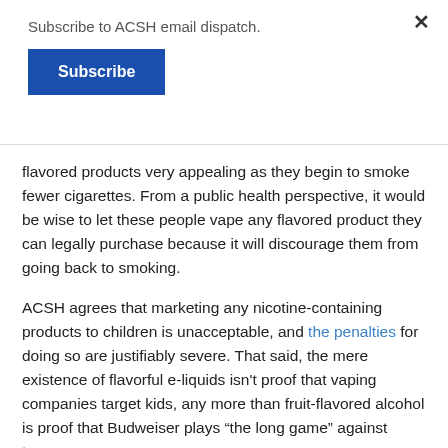Subscribe to ACSH email dispatch.
Subscribe
flavored products very appealing as they begin to smoke fewer cigarettes. From a public health perspective, it would be wise to let these people vape any flavored product they can legally purchase because it will discourage them from going back to smoking.
ACSH agrees that marketing any nicotine-containing products to children is unacceptable, and the penalties for doing so are justifiably severe. That said, the mere existence of flavorful e-liquids isn't proof that vaping companies target kids, any more than fruit-flavored alcohol is proof that Budweiser plays “the long game” against teenagers.
Thank you for smoking